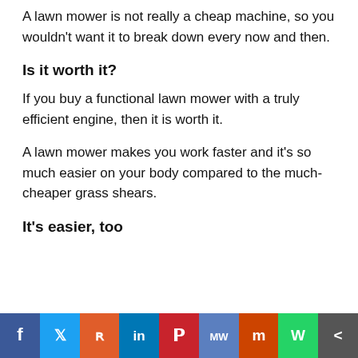A lawn mower is not really a cheap machine, so you wouldn't want it to break down every now and then.
Is it worth it?
If you buy a functional lawn mower with a truly efficient engine, then it is worth it.
A lawn mower makes you work faster and it's so much easier on your body compared to the much-cheaper grass shears.
It's easier, too
[Figure (infographic): Social media share bar with icons: Facebook, Twitter, Reddit, LinkedIn, Pinterest, MeWe, Mix, WhatsApp, Share]